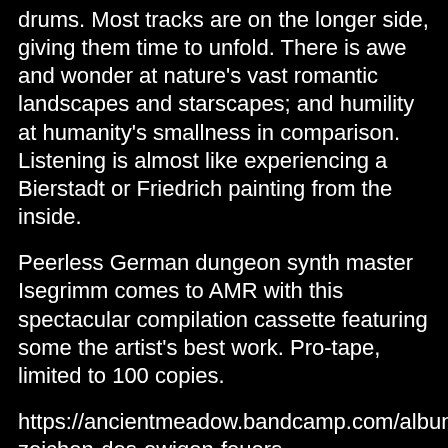drums. Most tracks are on the longer side, giving them time to unfold. There is awe and wonder at nature's vast romantic landscapes and starscapes; and humility at humanity's smallness in comparison. Listening is almost like experiencing a Bierstadt or Friedrich painting from the inside.
Peerless German dungeon synth master Isegrimm comes to AMR with this spectacular compilation cassette featuring some the artist's best work. Pro-tape, limited to 100 copies.
https://ancientmeadow.bandcamp.com/album/im-zeichen-des-ewigen-feuers
AUSTRALIA - ORDER UPTO 4 TAPES AND PAY THE SAME POSTAGE!
OVERSEAS - ORDER 2-3 TAPES AND PAY THE SAME POSTAGE!
ALL PRICES ARE IN AUSTRALIAN DOLLARS.
IF YOUR COUNTRY DOESNT SHOW UP IN THE SHIPPING OPTIONS, GET IN TOUCH FOR A BETTER